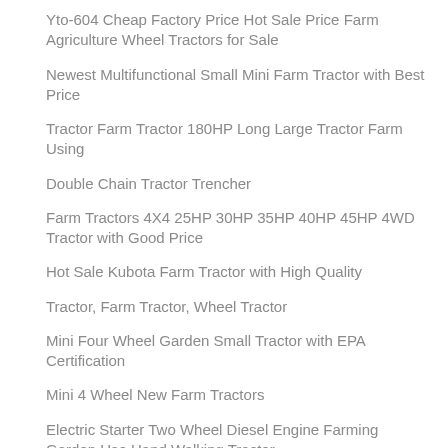Yto-604 Cheap Factory Price Hot Sale Price Farm Agriculture Wheel Tractors for Sale
Newest Multifunctional Small Mini Farm Tractor with Best Price
Tractor Farm Tractor 180HP Long Large Tractor Farm Using
Double Chain Tractor Trencher
Farm Tractors 4X4 25HP 30HP 35HP 40HP 45HP 4WD Tractor with Good Price
Hot Sale Kubota Farm Tractor with High Quality
Tractor, Farm Tractor, Wheel Tractor
Mini Four Wheel Garden Small Tractor with EPA Certification
Mini 4 Wheel New Farm Tractors
Electric Starter Two Wheel Diesel Engine Farming Garden Use Hand Walking Tractor